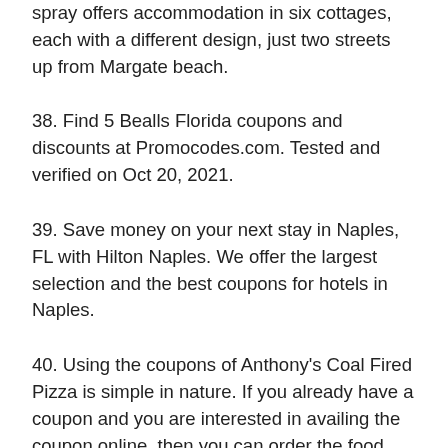spray offers accommodation in six cottages, each with a different design, just two streets up from Margate beach.
38. Find 5 Bealls Florida coupons and discounts at Promocodes.com. Tested and verified on Oct 20, 2021.
39. Save money on your next stay in Naples, FL with Hilton Naples. We offer the largest selection and the best coupons for hotels in Naples.
40. Using the coupons of Anthony's Coal Fired Pizza is simple in nature. If you already have a coupon and you are interested in availing the coupon online, then you can order the food online and during the time of checkout, there is an option of using a coupon code which will